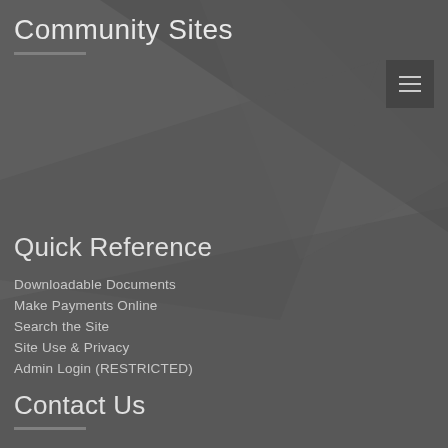Community Sites
[Figure (illustration): Dark gray background with subtle polygon/triangle geometric shapes creating a tonal texture]
Quick Reference
Downloadable Documents
Make Payments Online
Search the Site
Site Use & Privacy
Admin Login (RESTRICTED)
Contact Us